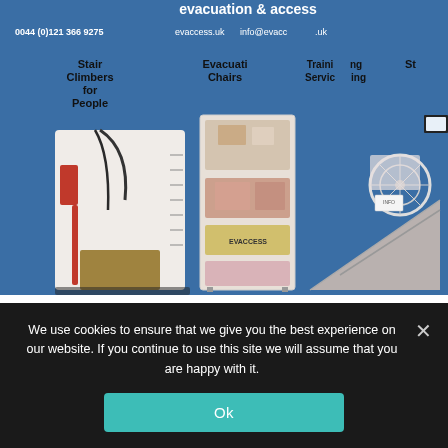[Figure (photo): Photo of an evacuation and access exhibition booth showing stair climbers, evacuation chairs, and a wheelchair accessible device on a blue branded backdrop with text 'evacuation & access', phone number 0044 (0)121 366 9275, website evaccess.uk, info@evaccess.uk, and product labels: Stair Climbers for People, Evacuation Chairs, Training, Servicing, Staff.]
Evaccess will be exhibiting in Birmingham this month
We use cookies to ensure that we give you the best experience on our website. If you continue to use this site we will assume that you are happy with it.